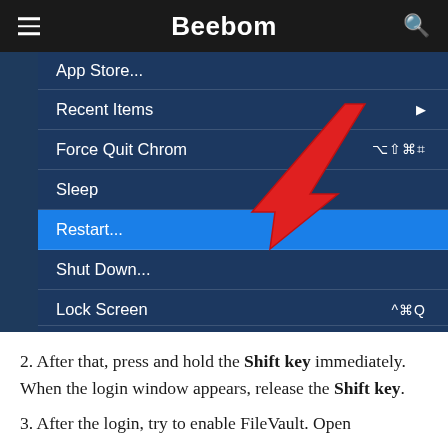Beebom
[Figure (screenshot): macOS Apple menu screenshot showing menu items: App Store..., Recent Items (with arrow), Force Quit Chrome (with keyboard shortcut), Sleep, Restart... (highlighted in blue with red arrow pointing to it), Shut Down..., Lock Screen (with keyboard shortcut), Log Out Rajesh Mishra... (with keyboard shortcut). A red arrow annotation points to the Restart... option.]
2. After that, press and hold the Shift key immediately. When the login window appears, release the Shift key.
3. After the login, try to enable FileVault. Open